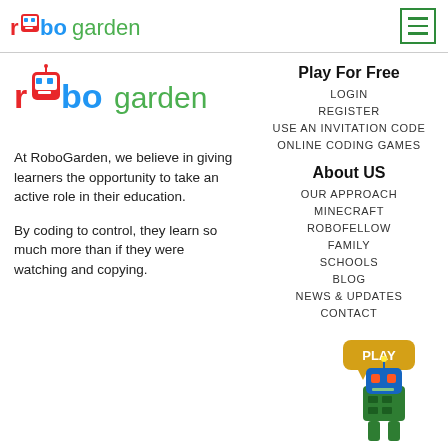RoboGarden logo and menu icon
[Figure (logo): RoboGarden logo - large version in left column]
At RoboGarden, we believe in giving learners the opportunity to take an active role in their education.

By coding to control, they learn so much more than if they were watching and copying.
Play For Free
LOGIN
REGISTER
USE AN INVITATION CODE
ONLINE CODING GAMES
About US
OUR APPROACH
MINECRAFT
ROBOFELLOW
FAMILY
SCHOOLS
BLOG
NEWS & UPDATES
CONTACT
[Figure (illustration): RoboGarden robot character with PLAY button speech bubble]